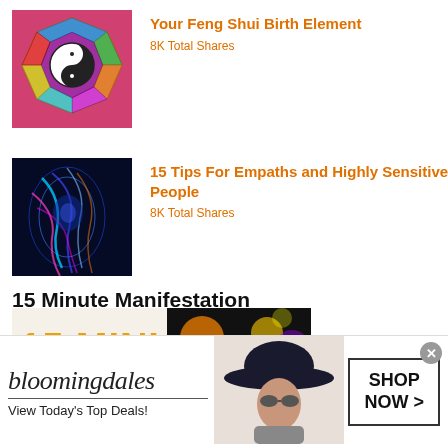[Figure (photo): Feng Shui bagua/Pa Kua diagram with yin-yang symbol on pink background]
Your Feng Shui Birth Element
8K Total Shares
[Figure (photo): Colorful abstract image of person's head with glowing neural/energy waves on dark blue background]
15 Tips For Empaths and Highly Sensitive People
8K Total Shares
15 Minute Manifestation
[Figure (photo): 15 Minute Manifestation promotional banner with orange text and colorful background]
[Figure (photo): Bloomingdale's advertisement: logo, View Today's Top Deals!, woman with wide-brim hat, SHOP NOW button]